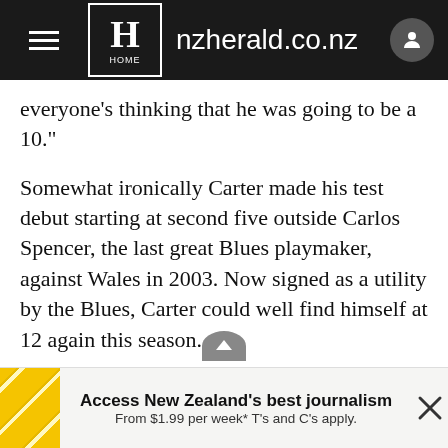nzherald.co.nz
everyone's thinking that he was going to be a 10."
Somewhat ironically Carter made his test debut starting at second five outside Carlos Spencer, the last great Blues playmaker, against Wales in 2003. Now signed as a utility by the Blues, Carter could well find himself at 12 again this season.
Largely due to the increased defensive demands, Smith opted not to use Carter there in Japan.
"It was an option for us but it wasn't one we used mainly because of his value organising the game from
Access New Zealand's best journalism From $1.99 per week* T's and C's apply.